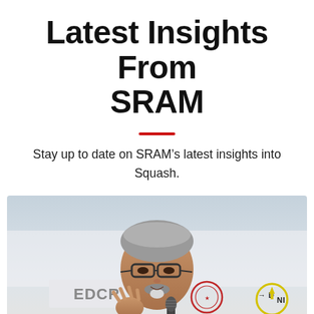Latest Insights From SRAM
Stay up to date on SRAM’s latest insights into Squash.
[Figure (photo): A man with grey hair and glasses speaking into a microphone at a press conference or official event, with sponsor banners visible in the background including logos for EDCR, a government emblem, and DUNI.]